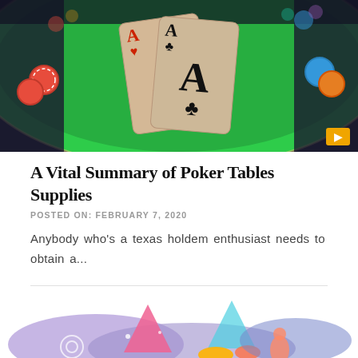[Figure (photo): Photo of two playing cards (Ace of Hearts and Ace of Clubs) on a green poker table background]
A Vital Summary of Poker Tables Supplies
POSTED ON: FEBRUARY 7, 2020
Anybody who's a texas holdem enthusiast needs to obtain a...
[Figure (illustration): Colorful abstract illustration with purple, pink, blue and orange shapes suggesting a tech or gaming theme]